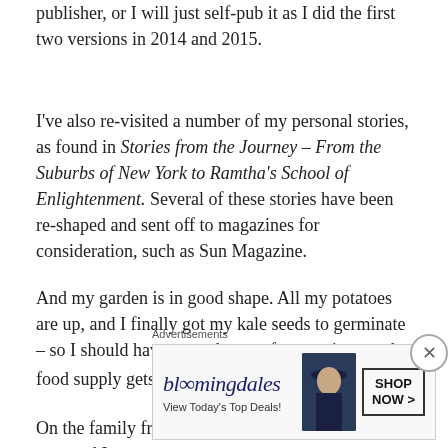publisher, or I will just self-pub it as I did the first two versions in 2014 and 2015.
I've also re-visited a number of my personal stories, as found in Stories from the Journey – From the Suburbs of New York to Ramtha's School of Enlightenment. Several of these stories have been re-shaped and sent off to magazines for consideration, such as Sun Magazine.
And my garden is in good shape. All my potatoes are up, and I finally got my kale seeds to germinate – so I should have a good crop of greens in case the food supply gets wonky in a 2nd Wave of Covid.
On the family front, Mom turned 96 two weeks ago, and I
Advertisements
[Figure (other): Bloomingdale's advertisement banner with logo, tagline 'View Today's Top Deals!', woman in wide-brim hat, and 'SHOP NOW >' button]